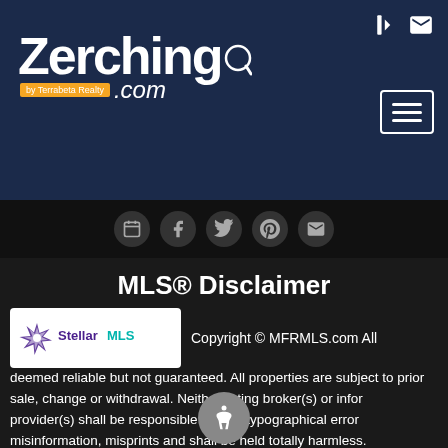[Figure (logo): Zerching.com by Terrabeta Realty logo — white stylized text on dark navy background]
[Figure (logo): Social media icon circles row — calendar/booking, Facebook, Twitter/X, Pinterest, Email]
MLS® Disclaimer
[Figure (logo): Stellar MLS logo — star burst icon with purple and teal text]
Copyright © MFRMLS.com All deemed reliable but not guaranteed. All properties are subject to prior sale, change or withdrawal. Neither listing broker(s) or information provider(s) shall be responsible for any typographical errors, misinformation, misprints and shall be held totally harmless. Listing(s) information is provided for consumers personal, non-commercial use and may not be used for any purpose other than to identify